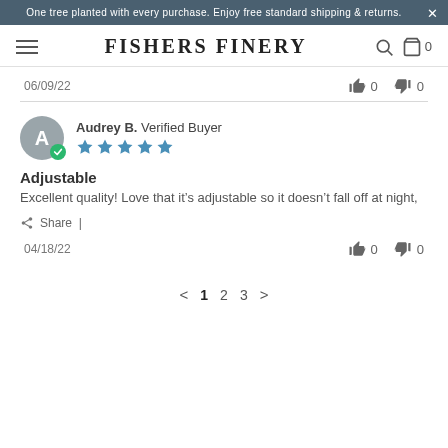One tree planted with every purchase. Enjoy free standard shipping & returns.
FISHERS FINERY
06/09/22  👍 0  👎 0
Audrey B.  Verified Buyer  ★★★★★
Adjustable
Excellent quality! Love that it's adjustable so it doesn't fall off at night,
Share |
04/18/22  👍 0  👎 0
< 1 2 3 >